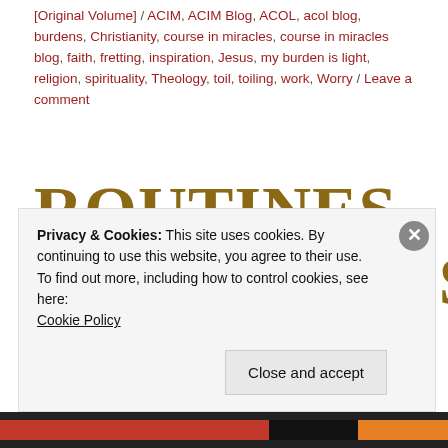[Original Volume] / ACIM, ACIM Blog, ACOL, acol blog, burdens, Christianity, course in miracles, course in miracles blog, faith, fretting, inspiration, Jesus, my burden is light, religion, spirituality, Theology, toil, toiling, work, Worry / Leave a comment
ROUTINES DANGEROUS
Privacy & Cookies: This site uses cookies. By continuing to use this website, you agree to their use. To find out more, including how to control cookies, see here: Cookie Policy